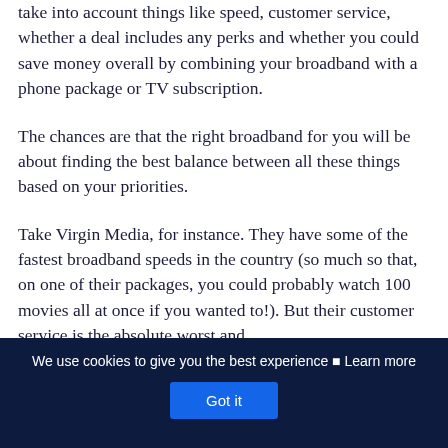take into account things like speed, customer service, whether a deal includes any perks and whether you could save money overall by combining your broadband with a phone package or TV subscription.
The chances are that the right broadband for you will be about finding the best balance between all these things based on your priorities.
Take Virgin Media, for instance. They have some of the fastest broadband speeds in the country (so much so that, on one of their packages, you could probably watch 100 movies all at once if you wanted to!). But their customer service is the absolute worst and…
We use cookies to give you the best experience ⊠ Learn more